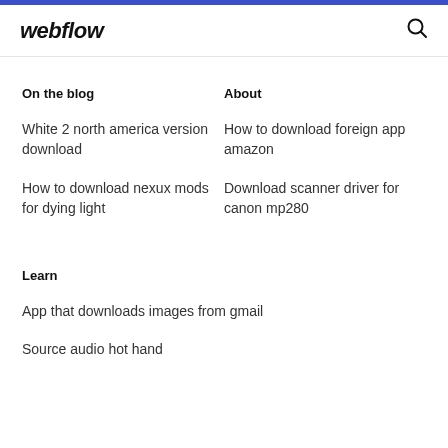webflow
On the blog
About
White 2 north america version download
How to download foreign app amazon
How to download nexux mods for dying light
Download scanner driver for canon mp280
Learn
App that downloads images from gmail
Source audio hot hand